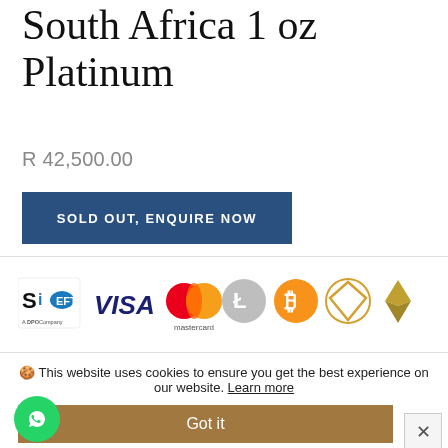South Africa 1 oz Platinum
R 42,500.00
SOLD OUT, ENQUIRE NOW
[Figure (logo): Payment method logos: SiD (A DPO Company), VISA, Mastercard, Litecoin, Bitcoin, and two crypto/gem logos (diamond and Ethereum)]
This website uses cookies to ensure you get the best experience on our website. Learn more
Got it